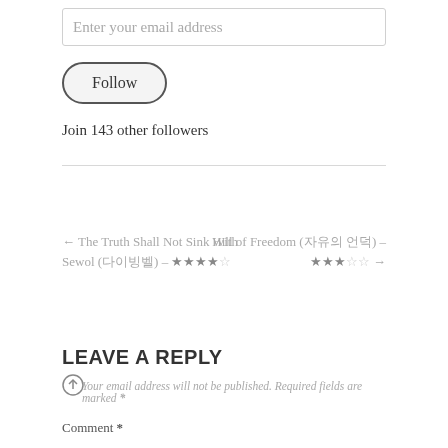Enter your email address
[Figure (other): Follow button — rounded rectangle button with text 'Follow']
Join 143 other followers
← The Truth Shall Not Sink With Sewol (다이빙벨) – ★★★★☆
Hill of Freedom (자유의 언덕) – ★★★☆☆ →
LEAVE A REPLY
Your email address will not be published. Required fields are marked *
Comment *